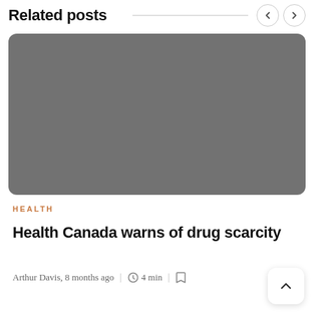Related posts
[Figure (photo): Gray placeholder image for article thumbnail, rounded corners]
HEALTH
Health Canada warns of drug scarcity
Arthur Davis, 8 months ago | 4 min |